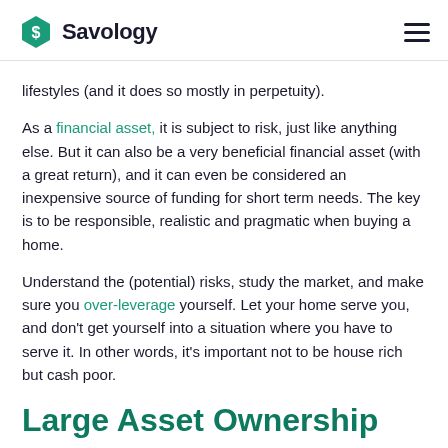Savology
lifestyles (and it does so mostly in perpetuity).
As a financial asset, it is subject to risk, just like anything else. But it can also be a very beneficial financial asset (with a great return), and it can even be considered an inexpensive source of funding for short term needs. The key is to be responsible, realistic and pragmatic when buying a home.
Understand the (potential) risks, study the market, and make sure you over-leverage yourself. Let your home serve you, and don’t get yourself into a situation where you have to serve it. In other words, it’s important not to be house rich but cash poor.
Large Asset Ownership
Large assets like homes, rentals, businesses, real estate, and other non-depreciable assets are useful for